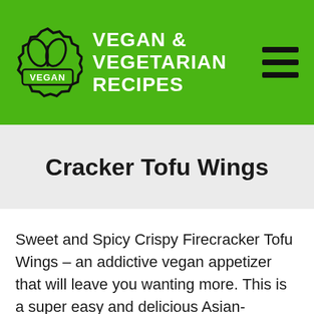[Figure (logo): Vegan & Vegetarian Recipes website header with green background, vegan badge logo on left, site title text in white, and hamburger menu icon on right]
Cracker Tofu Wings
Sweet and Spicy Crispy Firecracker Tofu Wings – an addictive vegan appetizer that will leave you wanting more. This is a super easy and delicious Asian-inspired